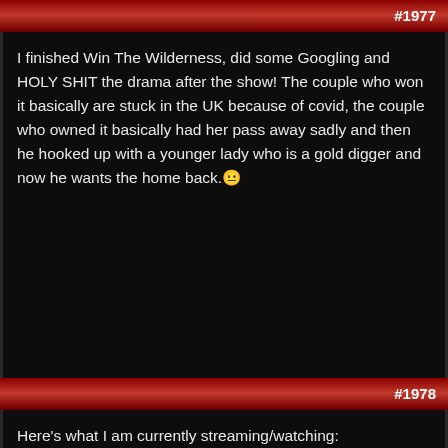#1977
I finished Win The Wilderness, did some Googling and HOLY SHIT the drama after the show! The couple who won it basically are stuck in the UK because of covid, the couple who owned it basically had her pass away sadly and then he hooked up with a younger lady who is a gold digger and now he wants the home back. 😑
Reply With Quote
#1978
Here's what I am currently streaming/watching: